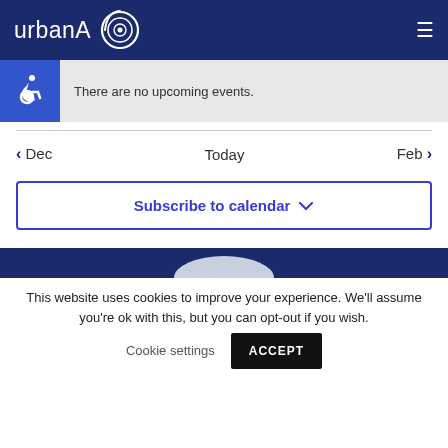urbanA [logo]
There are no upcoming events.
< Dec   Today   Feb >
Subscribe to calendar
This website uses cookies to improve your experience. We'll assume you're ok with this, but you can opt-out if you wish.
Cookie settings  ACCEPT